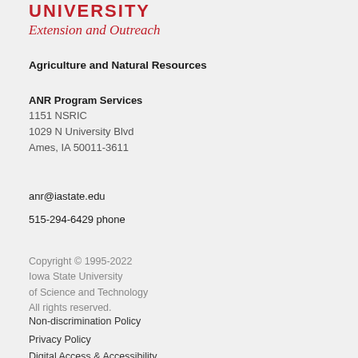UNIVERSITY Extension and Outreach
Agriculture and Natural Resources
ANR Program Services
1151 NSRIC
1029 N University Blvd
Ames, IA 50011-3611
anr@iastate.edu
515-294-6429 phone
Copyright © 1995-2022
Iowa State University
of Science and Technology
All rights reserved.
Non-discrimination Policy
Privacy Policy
Digital Access & Accessibility